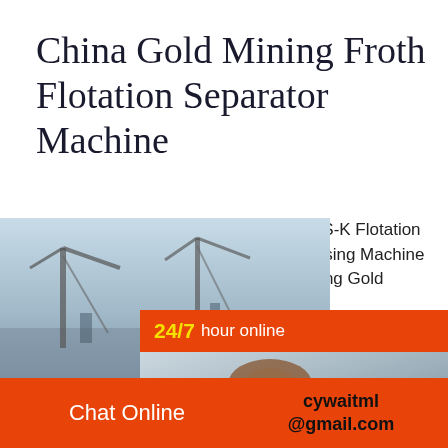China Gold Mining Froth Flotation Separator Machine
2021-6-5   BS-K Flotation Machine, BS-K Flotation Machine in Mines, Copper Ore Processing Machine manufacturer / supplier in China, offering Gold Mining…
[Figure (photo): Customer service agent with headset, 24/7 online chat widget with orange header]
[Figure (photo): Industrial site with cranes and sky, bottom-left image area]
Click to chat
Enquiry
Chat Online
cywaitml @gmail.com